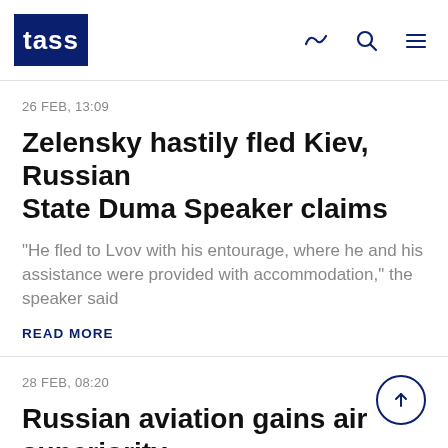TASS
26 FEB, 13:09
Zelensky hastily fled Kiev, Russian State Duma Speaker claims
"He fled to Lvov with his entourage, where he and his assistance were provided with accommodation," the speaker said
READ MORE
28 FEB, 08:20
Russian aviation gains air superiority